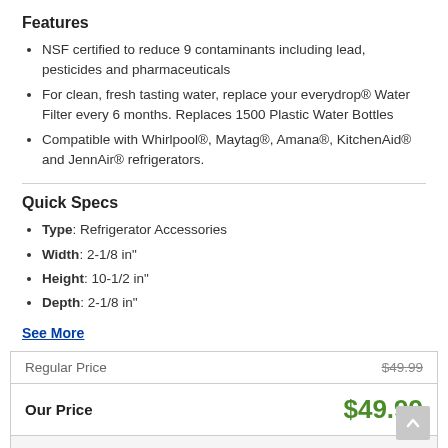Features
NSF certified to reduce 9 contaminants including lead, pesticides and pharmaceuticals
For clean, fresh tasting water, replace your everydrop® Water Filter every 6 months. Replaces 1500 Plastic Water Bottles
Compatible with Whirlpool®, Maytag®, Amana®, KitchenAid® and JennAir® refrigerators.
Quick Specs
Type: Refrigerator Accessories
Width: 2-1/8 in"
Height: 10-1/2 in"
Depth: 2-1/8 in"
See More
| Label | Value |
| --- | --- |
| Regular Price | $49.99 |
| Our Price | $49.99 |
Enter Zip Code *